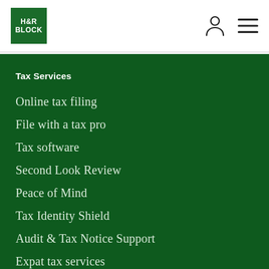[Figure (logo): H&R Block green square logo with white text]
Tax Services
Online tax filing
File with a tax pro
Tax software
Second Look Review
Peace of Mind
Tax Identity Shield
Audit & Tax Notice Support
Expat tax services